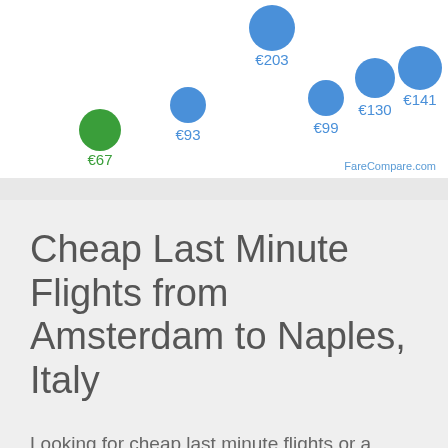[Figure (scatter-plot): Flight prices from Amsterdam to Naples]
Cheap Last Minute Flights from Amsterdam to Naples, Italy
Looking for cheap last minute flights or a weekend getaway? We've got you covered with weekend flight